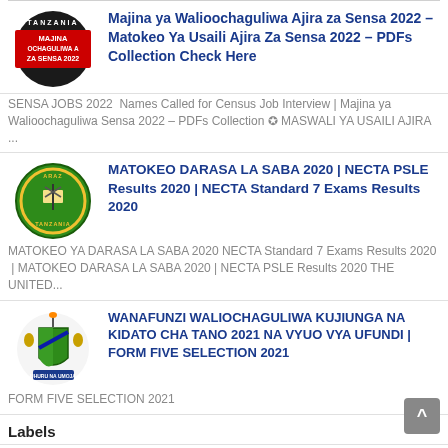[Figure (logo): Tanzania Majina ya Walioochaguliwa Za Sensa 2022 logo — black circular badge with Tanzania text, red box with Majina Ochaguliwa text]
Majina ya Walioochaguliwa Ajira za Sensa 2022 – Matokeo Ya Usaili Ajira Za Sensa 2022 – PDFs Collection Check Here
SENSA JOBS 2022  Names Called for Census Job Interview | Majina ya Walioochaguliwa Sensa 2022 – PDFs Collection ✪ MASWALI YA USAILI AJIRA ...
[Figure (logo): Tanzania green circular coat of arms logo]
MATOKEO DARASA LA SABA 2020 | NECTA PSLE Results 2020 | NECTA Standard 7 Exams Results 2020
MATOKEO YA DARASA LA SABA 2020 NECTA Standard 7 Exams Results 2020  | MATOKEO DARASA LA SABA 2020 | NECTA PSLE Results 2020 THE UNITED...
[Figure (logo): Tanzania coat of arms logo]
WANAFUNZI WALIOCHAGULIWA KUJIUNGA NA KIDATO CHA TANO 2021 NA VYUO VYA UFUNDI | FORM FIVE SELECTION 2021
FORM FIVE SELECTION 2021
Labels
Choose Jobs Categories